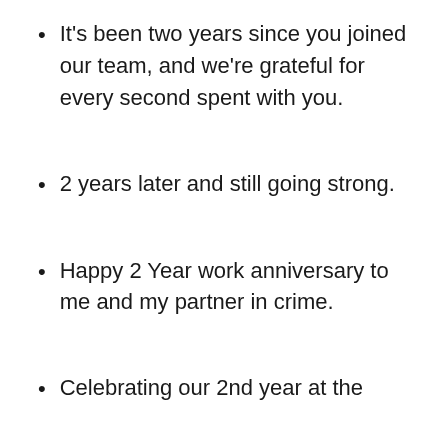It's been two years since you joined our team, and we're grateful for every second spent with you.
2 years later and still going strong.
Happy 2 Year work anniversary to me and my partner in crime.
Celebrating our 2nd year at the